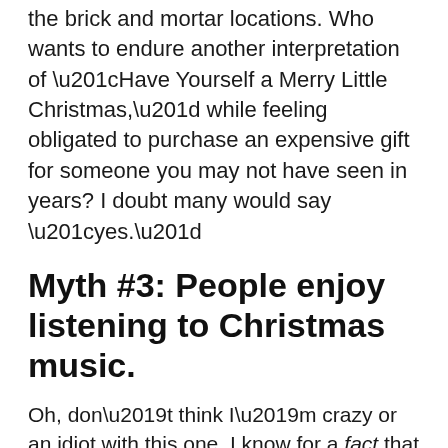the brick and mortar locations. Who wants to endure another interpretation of “Have Yourself a Merry Little Christmas,” while feeling obligated to purchase an expensive gift for someone you may not have seen in years? I doubt many would say “yes.”
Myth #3: People enjoy listening to Christmas music.
Oh, don’t think I’m crazy or an idiot with this one. I know for a fact that there are more than a few adults who enjoy holiday music (a couple of them are in my own family, I guarantee it) –